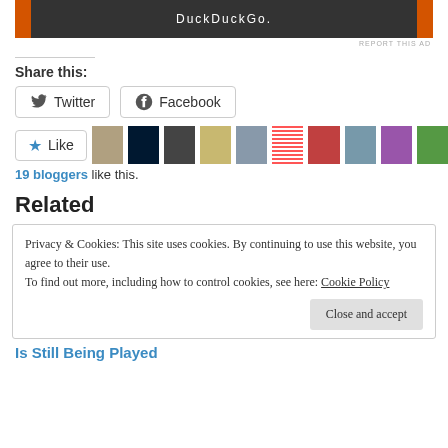[Figure (screenshot): DuckDuckGo advertisement banner with orange side panels and white text on dark background, with 'REPORT THIS AD' link below]
Share this:
[Figure (screenshot): Twitter and Facebook share buttons with icons]
[Figure (screenshot): Like button with star icon and a row of blogger avatar thumbnails]
19 bloggers like this.
Related
Privacy & Cookies: This site uses cookies. By continuing to use this website, you agree to their use.
To find out more, including how to control cookies, see here: Cookie Policy
Close and accept
Is Still Being Played